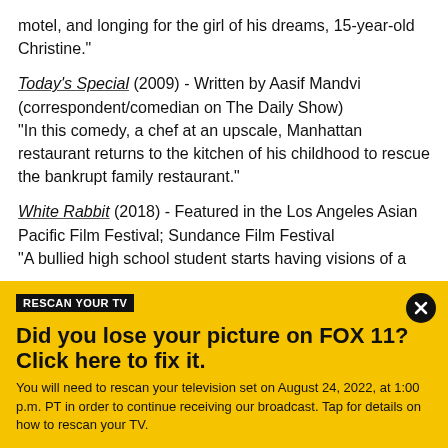motel, and longing for the girl of his dreams, 15-year-old Christine."
Today's Special (2009) - Written by Aasif Mandvi (correspondent/comedian on The Daily Show) "In this comedy, a chef at an upscale, Manhattan restaurant returns to the kitchen of his childhood to rescue the bankrupt family restaurant."
White Rabbit (2018) - Featured in the Los Angeles Asian Pacific Film Festival; Sundance Film Festival "A bullied high school student starts having visions of a
RESCAN YOUR TV
Did you lose your picture on FOX 11? Click here to fix it.
You will need to rescan your television set on August 24, 2022, at 1:00 p.m. PT in order to continue receiving our broadcast. Tap for details on how to rescan your TV.